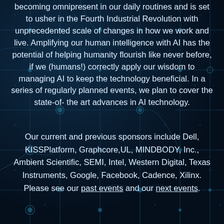becoming omnipresent in our daily routines and is set to usher in the Fourth Industrial Revolution with unprecedented scale of changes in how we work and live. Amplifying our human intelligence with AI has the potential of helping humanity flourish like never before, if we (humans!) correctly apply our wisdom to managing AI to keep the technology beneficial. In a series of regularly planned events, we plan to cover the state-of-the art advances in AI technology.
Our current and previous sponsors include Dell, KISSPlatform, Graphcore,UL, MINDBODY, Inc., Ambient Scientific, SEMI, Intel, Western Digital, Texas Instruments, Google, Facebook, Cadence, Xilinx. Please see our past events and our next events.